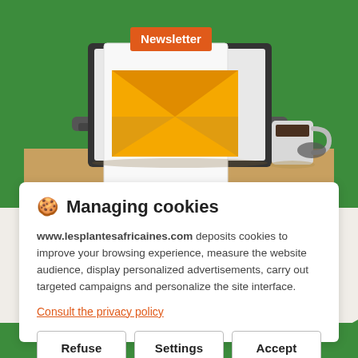[Figure (illustration): Illustration of a laptop with a newsletter envelope popping out, on a wooden desk with a coffee mug, against a green background. The envelope is orange/yellow and a paper with 'Newsletter' in orange on white banner is emerging from it.]
🍪 Managing cookies
www.lesplantesafricaines.com deposits cookies to improve your browsing experience, measure the website audience, display personalized advertisements, carry out targeted campaigns and personalize the site interface.
Consult the privacy policy
Refuse | Settings | Accept